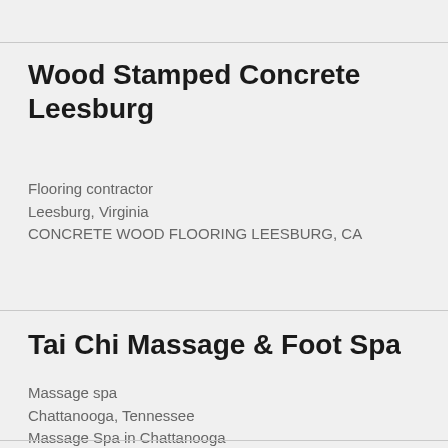Wood Stamped Concrete Leesburg
Flooring contractor
Leesburg, Virginia
CONCRETE WOOD FLOORING LEESBURG, CA
Tai Chi Massage & Foot Spa
Massage spa
Chattanooga, Tennessee
Massage Spa in Chattanooga